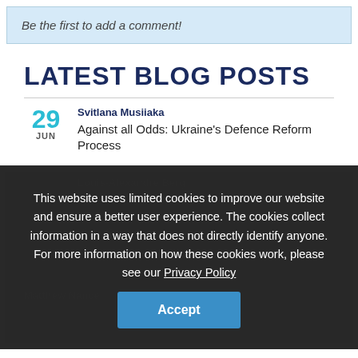Be the first to add a comment!
LATEST BLOG POSTS
Svitlana Musiiaka
29 JUN — Against all Odds: Ukraine's Defence Reform Process
Louis-Alexandre Berg
06 — On the Politics of Security Sector Reform
Viola Gyrdes
27 APR — The importance of SSR on the predicament of Covid, Coups, Conflicts and Climate change
Matthew Nance
This website uses limited cookies to improve our website and ensure a better user experience. The cookies collect information in a way that does not directly identify anyone. For more information on how these cookies work, please see our Privacy Policy
Accept